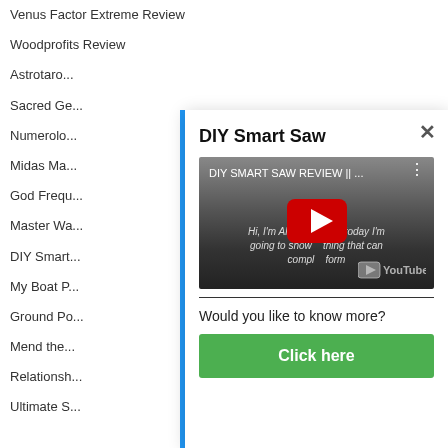Venus Factor Extreme Review
Woodprofits Review
Astrotaro...
Sacred Ge...
Numerolo...
Midas Ma...
God Frequ...
Master Wa...
DIY Smart...
My Boat P...
Ground Po...
Mend the...
Relationsh...
Ultimate S...
DIY Smart Saw
[Figure (screenshot): YouTube video thumbnail for DIY Smart Saw Review with play button]
Would you like to know more?
Click here